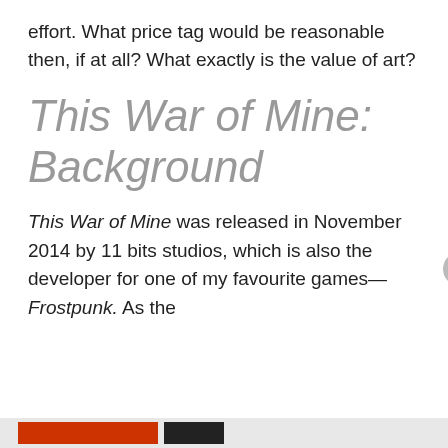effort. What price tag would be reasonable then, if at all? What exactly is the value of art?
This War of Mine: Background
This War of Mine was released in November 2014 by 11 bits studios, which is also the developer for one of my favourite games—Frostpunk. As the
Privacy & Cookies: This site uses cookies. By continuing to use this website, you agree to their use.
To find out more, including how to control cookies, see here: Cookie Policy
Close and accept